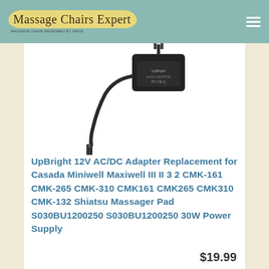Massage Chairs Expert
[Figure (photo): Black 12V AC/DC power adapter with cable and barrel connector plug, shown on white background]
UpBright 12V AC/DC Adapter Replacement for Casada Miniwell Maxiwell III II 3 2 CMK-161 CMK-265 CMK-310 CMK161 CMK265 CMK310 CMK-132 Shiatsu Massager Pad S030BU1200250 S030BU1200250 30W Power Supply
$19.99